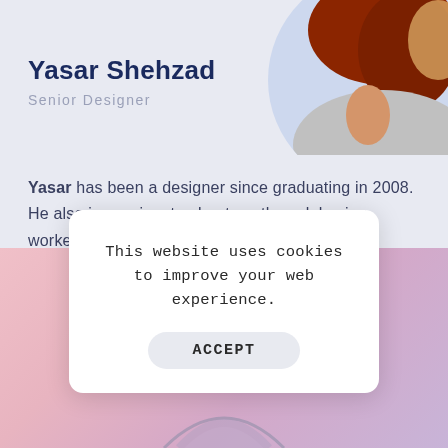[Figure (photo): Profile photo of Yasar Shehzad, showing the back of a person's head with reddish-brown hair against a light background]
Yasar Shehzad
Senior Designer
Yasar has been a designer since graduating in 2008. He also is passionate about youth work having worked with young people for over a decade in various settings.
[Figure (screenshot): Cookie consent modal dialog over a colorful gradient background with an illustrated avatar at the bottom. Modal contains text about website cookies and an ACCEPT button.]
This website uses cookies to improve your web experience.
ACCEPT